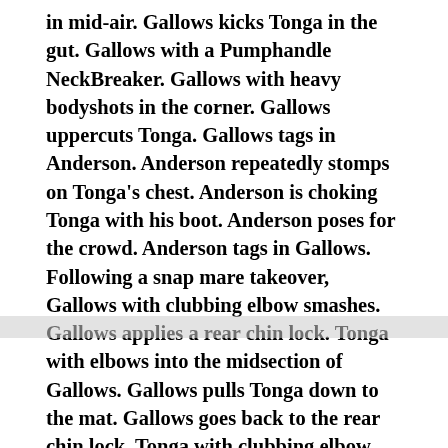in mid-air. Gallows kicks Tonga in the gut. Gallows with a Pumphandle NeckBreaker. Gallows with heavy bodyshots in the corner. Gallows uppercuts Tonga. Gallows tags in Anderson. Anderson repeatedly stomps on Tonga's chest. Anderson is choking Tonga with his boot. Anderson poses for the crowd. Anderson tags in Gallows. Following a snap mare takeover, Gallows with clubbing elbow smashes. Gallows applies a rear chin lock. Tonga with elbows into the midsection of Gallows. Gallows pulls Tonga down to the mat. Gallows goes back to the rear chin lock. Tonga with clubbing elbow strikes. Tonga decks Gallows with a JawBreaker. Gallows ×